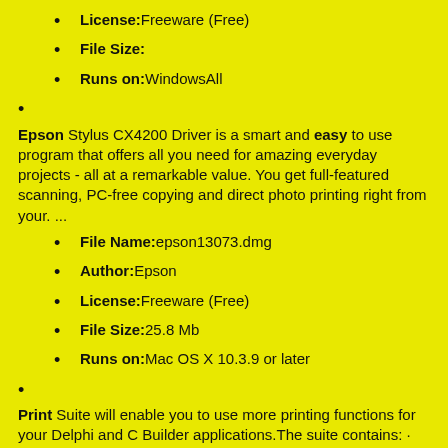License:Freeware (Free)
File Size:
Runs on:WindowsAll
Epson Stylus CX4200 Driver is a smart and easy to use program that offers all you need for amazing everyday projects - all at a remarkable value. You get full-featured scanning, PC-free copying and direct photo printing right from your. ...
File Name:epson13073.dmg
Author:Epson
License:Freeware (Free)
File Size:25.8 Mb
Runs on:Mac OS X 10.3.9 or later
Print Suite will enable you to use more printing functions for your Delphi and C Builder applications.The suite contains: · TPrintJobmain